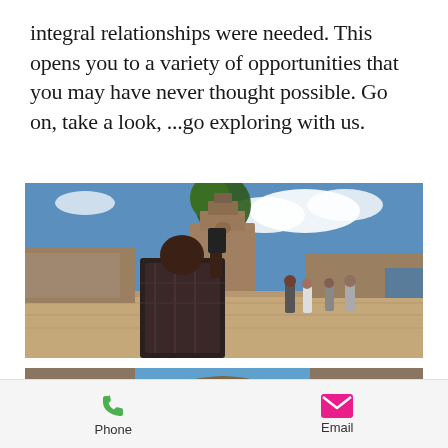integral relationships were needed. This opens you to a variety of opportunities that you may have never thought possible. Go on, take a look, ...go exploring with us.
[Figure (photo): Person photographing ancient temple complex (Angkor Wat / Bayon area, Cambodia) with multiple tourists visible in background under blue sky with clouds]
[Figure (photo): Stone archway ruin framing a church or temple spire in the distance under blue sky, with a white circular scroll-to-top button overlaid]
Phone   Email